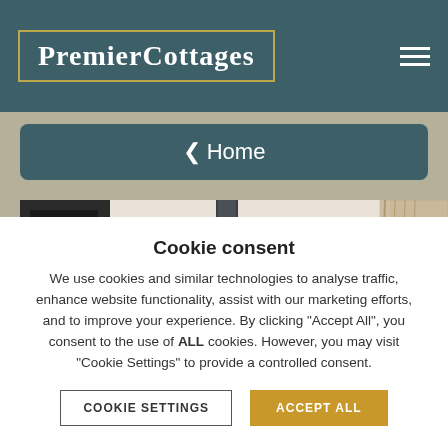PremierCottages
< Home
[Figure (photo): Interior photo of a room with a black cast-iron wood-burning stove, fireside tools, white brick wall, and a woven curtain to the right]
Cookie consent
We use cookies and similar technologies to analyse traffic, enhance website functionality, assist with our marketing efforts, and to improve your experience. By clicking "Accept All", you consent to the use of ALL cookies. However, you may visit "Cookie Settings" to provide a controlled consent.
COOKIE SETTINGS
ACCEPT ALL